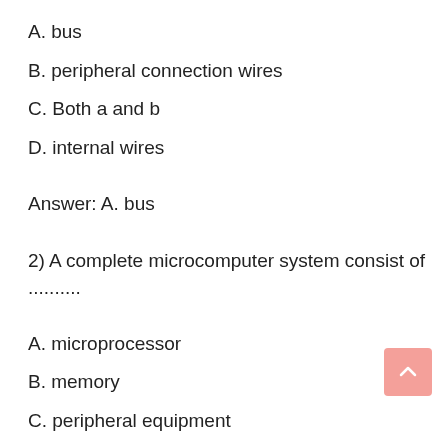A. bus
B. peripheral connection wires
C. Both a and b
D. internal wires
Answer: A. bus
2) A complete microcomputer system consist of ..........
A. microprocessor
B. memory
C. peripheral equipment